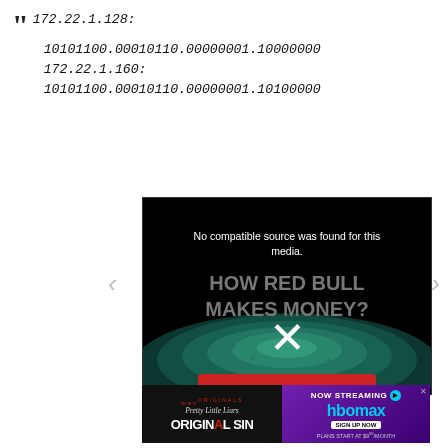172.22.1.128:
10101100.00010110.00000001.10000000
172.22.1.160:
10101100.00010110.00000001.10100000
[Figure (screenshot): Video player showing 'No compatible source was found for this media.' overlay on a Red Bull promotional video titled 'HOW RED BULL MAKES MONEY?' with a large X mark indicating the video cannot play. Background shows a Red Bull can top with liquid swirls.]
[Figure (photo): Advertisement banner for HBO Max showing 'Pretty Little Liars: Original Sin' with 'NOW STREAMING' text and HBOMAX logo, with 'SIGN UP NOW' button and 'PLANS START AT $9.99/MONTH' text.]